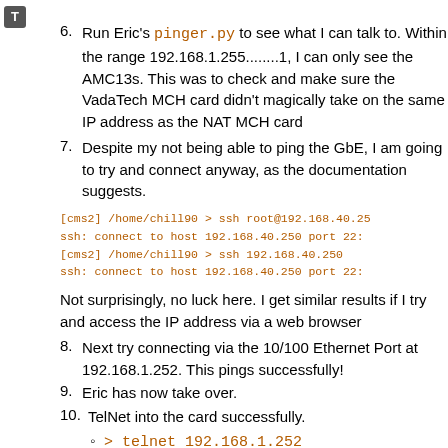6. Run Eric's pinger.py to see what I can talk to. Within the range 192.168.1.255........1, I can only see the AMC13s. This was to check and make sure the VadaTech MCH card didn't magically take on the same IP address as the NAT MCH card
7. Despite my not being able to ping the GbE, I am going to try and connect anyway, as the documentation suggests.
[cms2] /home/chill90 > ssh root@192.168.40.25
ssh: connect to host 192.168.40.250 port 22:
[cms2] /home/chill90 > ssh 192.168.40.250
ssh: connect to host 192.168.40.250 port 22:
Not surprisingly, no luck here. I get similar results if I try and access the IP address via a web browser
8. Next try connecting via the 10/100 Ethernet Port at 192.168.1.252. This pings successfully!
9. Eric has now take over.
10. TelNet into the card successfully.
> telnet 192.168.1.252
Username: root